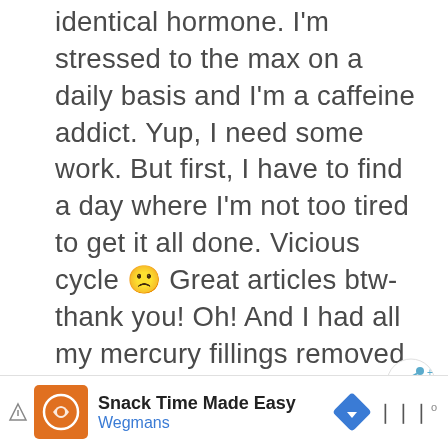identical hormone. I'm stressed to the max on a daily basis and I'm a caffeine addict. Yup, I need some work. But first, I have to find a day where I'm not too tired to get it all done. Vicious cycle 🙁 Great articles btw-thank you! Oh! And I had all my mercury fillings removed by a natural dentist. Still some left in the tubules but unless i want to lose those teeth-he can't get it out. I need to chelate it out. Still working on finding the right way to do that.
[Figure (other): Share button icon (circular white button with share icon)]
Reply
[Figure (other): Advertisement banner: Snack Time Made Easy - Wegmans, with orange logo, navigation arrow icon, and more options dots]